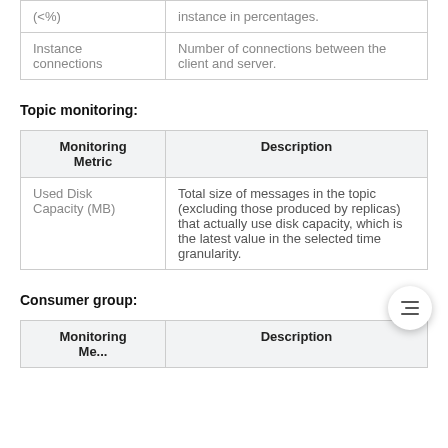| Monitoring Metric | Description |
| --- | --- |
| (%) | instance in percentages. |
| Instance connections | Number of connections between the client and server. |
Topic monitoring:
| Monitoring Metric | Description |
| --- | --- |
| Used Disk Capacity (MB) | Total size of messages in the topic (excluding those produced by replicas) that actually use disk capacity, which is the latest value in the selected time granularity. |
Consumer group:
| Monitoring Metric | Description |
| --- | --- |